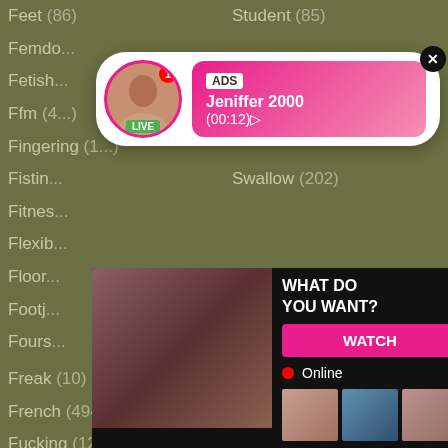Feet (86)
Student (85)
Femdo...
Fetish...
Ffm (4...)
Fingering (1...)
Swallow (202)
Fistin...
Fitnes...
Flexib...
Floor...
Footj...
Fours...
Freak (10)
Tall (30)
French (494)
Tanned (3)
Fucking (1219)
Tattoo (298)
Funny (35)
Teacher (129)
Gagging (17)
Tease (84)
Game (40)
Teen (1691)
Gangbang (267)
Tgirl (31)
[Figure (other): Ad notification popup with avatar of young woman labeled LIVE, showing name Jeniffer 2000 (00:12) with ADS label]
[Figure (other): Ad content popup showing adult content image on left, with WHAT DO YOU WANT? text, WATCH button, Online indicator, thumbnail images, text Cumming, ass fucking, squirt or... and ADS label]